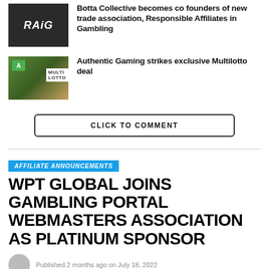[Figure (photo): RAiG logo on dark background with laptop]
Botta Collective becomes co-founders of new trade association, Responsible Affiliates in Gambling
[Figure (photo): Authentic Gaming Multilotto deal image]
Authentic Gaming strikes exclusive Multilotto deal
CLICK TO COMMENT
AFFILIATE ANNOUNCEMENTS
WPT GLOBAL JOINS GAMBLING PORTAL WEBMASTERS ASSOCIATION AS PLATINUM SPONSOR
Published 2 months ago on July 18, 2022